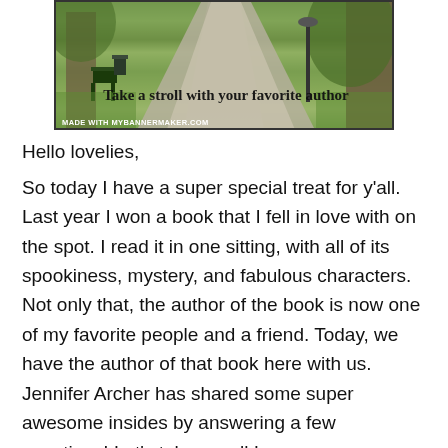[Figure (illustration): A banner image showing a park path with trees, benches, and green lawn. Text overlay reads 'Take a stroll with your favorite author'. Bottom-left watermark reads 'MADE WITH MYBANNERMAKER.COM'.]
Hello lovelies,
So today I have a super special treat for y'all. Last year I won a book that I fell in love with on the spot. I read it in one sitting, with all of its spookiness, mystery, and fabulous characters. Not only that, the author of the book is now one of my favorite people and a friend. Today, we have the author of that book here with us. Jennifer Archer has shared some super awesome insides by answering a few questions! Let's take a walk!